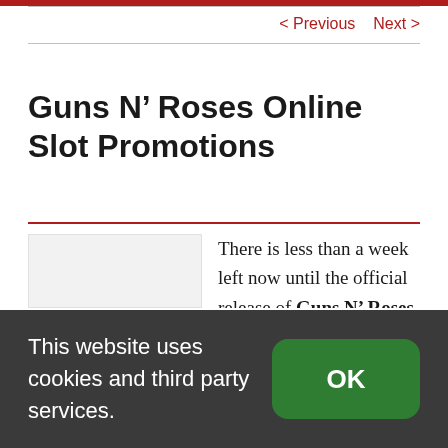< Previous   Next >
Guns N' Roses Online Slot Promotions
[Figure (other): Placeholder image area, light grey rectangle]
There is less than a week left now until the official release of Guns N' Roses Online Slot, due to hit
This website uses cookies and third party services.